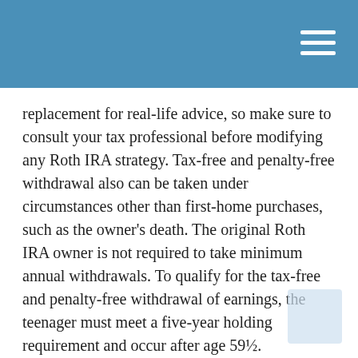replacement for real-life advice, so make sure to consult your tax professional before modifying any Roth IRA strategy. Tax-free and penalty-free withdrawal also can be taken under circumstances other than first-home purchases, such as the owner's death. The original Roth IRA owner is not required to take minimum annual withdrawals. To qualify for the tax-free and penalty-free withdrawal of earnings, the teenager must meet a five-year holding requirement and occur after age 59½.
Greater earning potential, thanks to the magic of compound interest. Setting up a Roth IRA for a teenager is a great way to introduce them to basic financial concepts, such as compound interest. Giving your teen a hands-on learning experience may help them understand the value of saving for the future. You may also be facilitating the development of your children's or